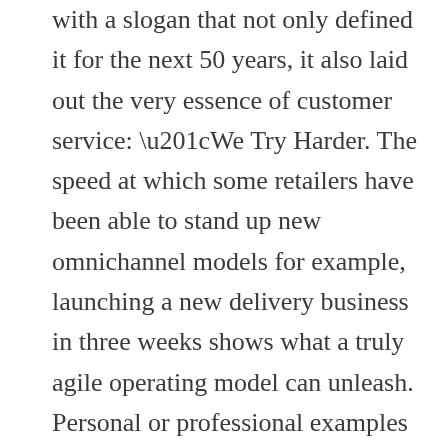with a slogan that not only defined it for the next 50 years, it also laid out the very essence of customer service: “We Try Harder. The speed at which some retailers have been able to stand up new omnichannel models for example, launching a new delivery business in three weeks shows what a truly agile operating model can unleash. Personal or professional examples are acceptable. Make an effort to remember customers’ names and other details. The use of positive language, coherent speech, and tone of communication affects your customer’s perception of your brand. Ask yourself how exactly you are feeling at each particular moment, why, and what can be done about it. A good customer service representative possesses